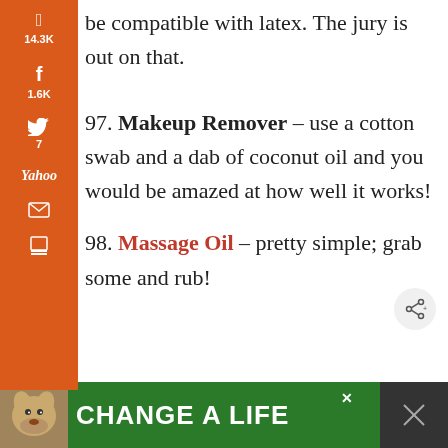be compatible with latex. The jury is out on that.
97. Makeup Remover – use a cotton swab and a dab of coconut oil and you would be amazed at how well it works!
98. Massage Oil – pretty simple; grab some and rub!
[Figure (screenshot): Orange sidebar with social share buttons: Pinterest (14.3K), Facebook (1.6K), Twitter (7), Yahoo, Email, Print icons. Bottom shows 15.8K SHARES.]
[Figure (photo): Green advertisement banner at bottom: dog photo on left, text 'CHANGE A LIFE' in white bold letters on green background, close X button, dark panel on right.]